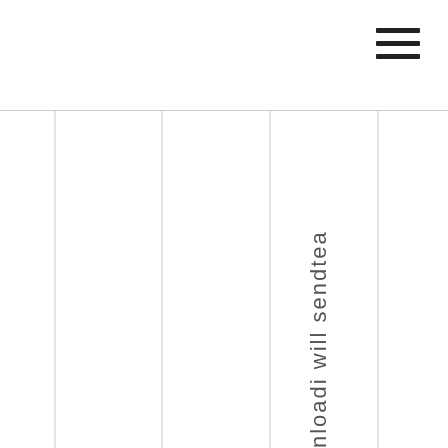[Figure (other): Hamburger menu icon (three horizontal lines) in top right corner of page header]